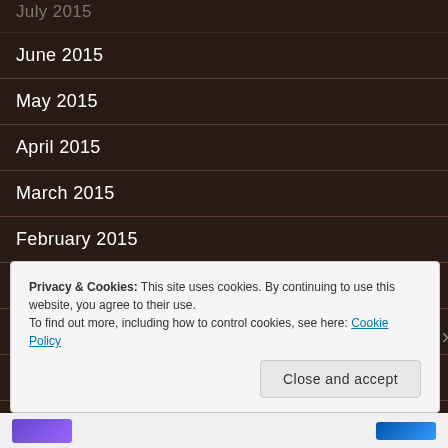June 2015
May 2015
April 2015
March 2015
February 2015
January 2015
December 2014
November 2014
Privacy & Cookies: This site uses cookies. By continuing to use this website, you agree to their use. To find out more, including how to control cookies, see here: Cookie Policy
Close and accept